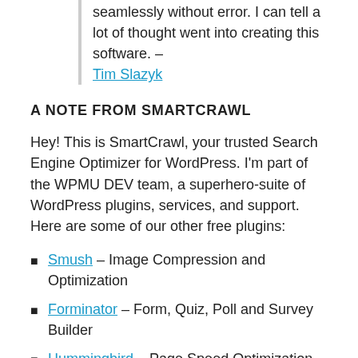seamlessly without error. I can tell a lot of thought went into creating this software. – Tim Slazyk
A NOTE FROM SMARTCRAWL
Hey! This is SmartCrawl, your trusted Search Engine Optimizer for WordPress. I'm part of the WPMU DEV team, a superhero-suite of WordPress plugins, services, and support. Here are some of our other free plugins:
Smush – Image Compression and Optimization
Forminator – Form, Quiz, Poll and Survey Builder
Hummingbird – Page Speed Optimization
Hustle – Pop-ups, Slide-ins and Email Opt-ins
Defender – Security, Monitoring and Hack Protection